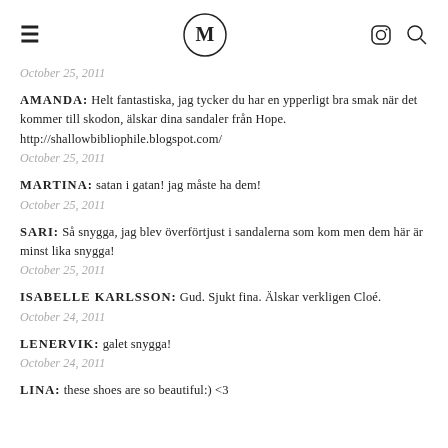≡  M  (instagram) (search)
October 25, 2011
AMANDA: Helt fantastiska, jag tycker du har en ypperligt bra smak när det kommer till skodon, älskar dina sandaler från Hope. http://shallowbibliophile.blogspot.com/
October 25, 2011
MARTINA: satan i gatan! jag måste ha dem!
October 25, 2011
SARI: Så snygga, jag blev överförtjust i sandalerna som kom men dem här är minst lika snygga!
October 25, 2011
ISABELLE KARLSSON: Gud. Sjukt fina. Älskar verkligen Cloé.
October 24, 2011
LENERVIK: galet snygga!
October 24, 2011
LINA: these shoes are so beautiful:) <3